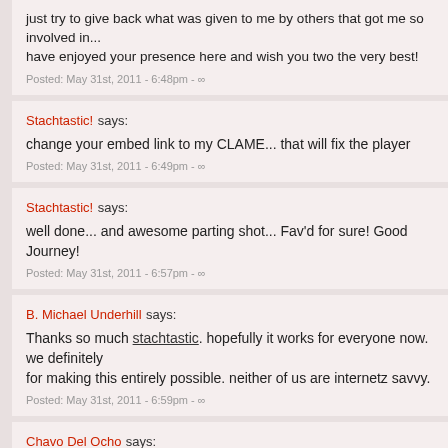just try to give back what was given to me by others that got me so involved in... have enjoyed your presence here and wish you two the very best!
Posted: May 31st, 2011 - 6:48pm - ∞
Stachtastic! says:
change your embed link to my CLAME... that will fix the player
Posted: May 31st, 2011 - 6:49pm - ∞
Stachtastic! says:
well done... and awesome parting shot... Fav'd for sure! Good Journey!
Posted: May 31st, 2011 - 6:57pm - ∞
B. Michael Underhill says:
Thanks so much stachtastic. hopefully it works for everyone now. we definitely for making this entirely possible. neither of us are internetz savvy.
Posted: May 31st, 2011 - 6:59pm - ∞
Chavo Del Ocho says:
I've enjoyed your shots. Take care